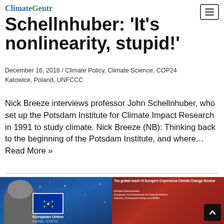ClimateGenn
Schellnhuber: 'It's nonlinearity, stupid!'
December 16, 2018 / Climate Policy, Climate Science, COP24 Katowice, Poland, UNFCCC
Nick Breeze interviews professor John Schellnhuber, who set up the Potsdam Institute for Climate Impact Research in 1991 to study climate. Nick Breeze (NB): Thinking back to the beginning of the Potsdam Institute, and where… Read More »
[Figure (photo): Photo of a woman speaking at a European Union COP24 event with an EU flag backdrop on the left, and a presentation slide showing 'The global reach of Europe's Copernicus Climate Change Service' on the right.]